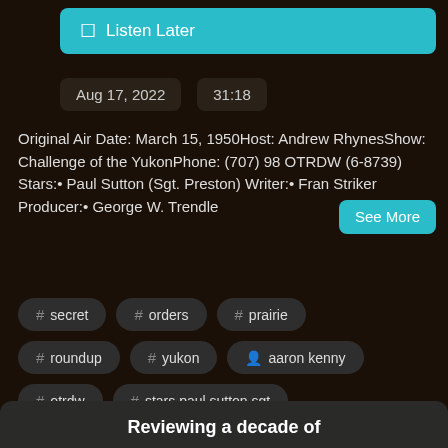[Figure (screenshot): Listen Later button with teal/cyan background and bookmark icon]
Aug 17, 2022   31:18
Original Air Date: March 15, 1950Host: Andrew RhynesShow: Challenge of the YukonPhone: (707) 98 OTRDW (6-8739) Stars:• Paul Sutton (Sgt. Preston) Writer:• Fran Striker Producer:• George W. Trendle
See More
# secret
# orders
# prairie
# roundup
# yukon
aaron kenny
# otrdw
# stars paul sutton sgt
Reviewing a decade of